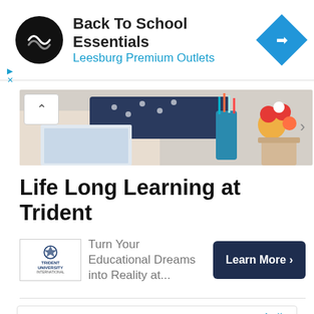[Figure (screenshot): Top advertisement banner for Back To School Essentials at Leesburg Premium Outlets, with black circular logo and blue diamond arrow icon]
[Figure (photo): Horizontal banner photo showing a person at a desk with school supplies, flowers, and colorful items]
Life Long Learning at Trident
[Figure (screenshot): Trident University advertisement with logo, text 'Turn Your Educational Dreams into Reality at...' and a dark navy Learn More button]
[Figure (screenshot): Bottom advertisement for 'Get IT Trained' with an Open button, for a CareerTechnical Institute]